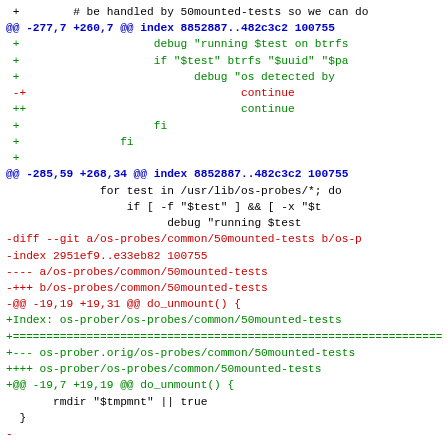[Figure (screenshot): A code diff showing patch content with git diff format. Lines are colored: blue for @@ hunk headers, green for added lines (+), red for removed lines (-), and black for context lines. Shows changes to os-probes/common/50mounted-tests file.]